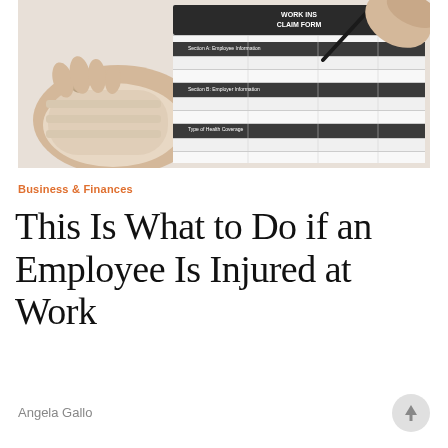[Figure (photo): A bandaged hand resting on a Work Insurance Claim Form, with another hand holding a pen filling out the form. The claim form has multiple fields and dark header rows.]
Business & Finances
This Is What to Do if an Employee Is Injured at Work
Angela Gallo